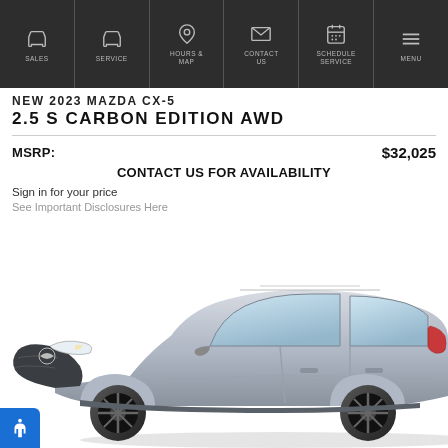SALES | SERVICE | HOURS & MAP | CONTACT US | SCHEDULE SERVICE | MENU
NEW 2023 MAZDA CX-5 2.5 S CARBON EDITION AWD
MSRP: $32,025
CONTACT US FOR AVAILABILITY
Sign in for your price
See Important Disclosures Here
[Figure (photo): Silver/gray Mazda CX-5 SUV shown from front three-quarter angle on white background]